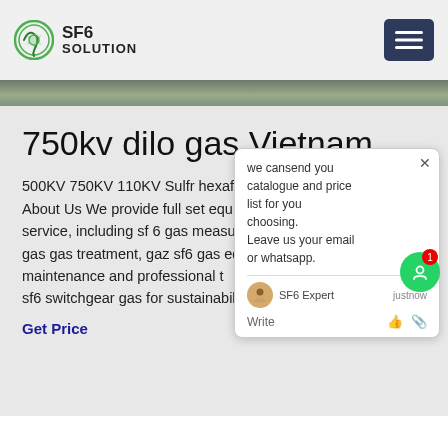SF6 SOLUTION
750kv dilo gas Vietnam
500KV 750KV 110KV Sulfr hexafluoride ... About Us We provide full set equipment service, including sf 6 gas measurement, gas gas treatment, gaz sf6 gas equipment maintenance and professional training ... sf6 switchgear gas for sustainability ...
Get Price